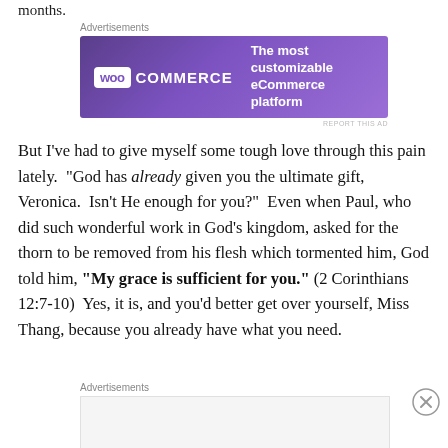months.
[Figure (screenshot): WooCommerce advertisement banner: purple background with WooCommerce logo and tagline 'The most customizable eCommerce platform']
But I've had to give myself some tough love through this pain lately. "God has already given you the ultimate gift, Veronica. Isn't He enough for you?" Even when Paul, who did such wonderful work in God's kingdom, asked for the thorn to be removed from his flesh which tormented him, God told him, "My grace is sufficient for you." (2 Corinthians 12:7-10) Yes, it is, and you'd better get over yourself, Miss Thang, because you already have what you need.
[Figure (screenshot): Second advertisement block at bottom of page, empty/loading state with gray background]